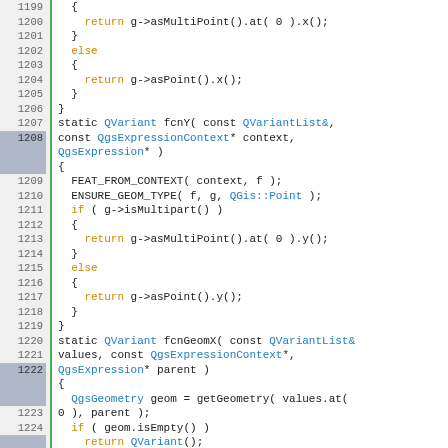[Figure (screenshot): Source code viewer showing C++ code lines 1199-1228, with line numbers on the left (gray background, green left border), highlighted lines 1208 and 1222. Code includes functions fcnY and fcnGeomX with orange keywords (return, else, if), blue types (QVariant, QgsExpressionContext, etc.), and black identifiers.]